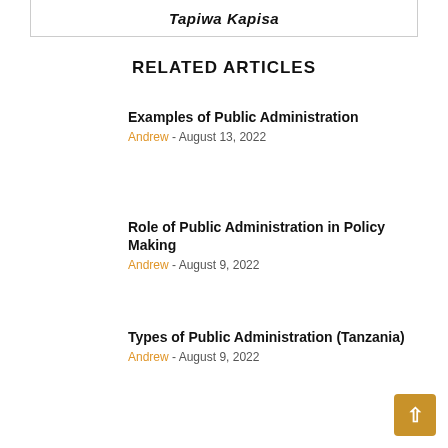Tapiwa Kapisa
RELATED ARTICLES
Examples of Public Administration
Andrew - August 13, 2022
Role of Public Administration in Policy Making
Andrew - August 9, 2022
Types of Public Administration (Tanzania)
Andrew - August 9, 2022